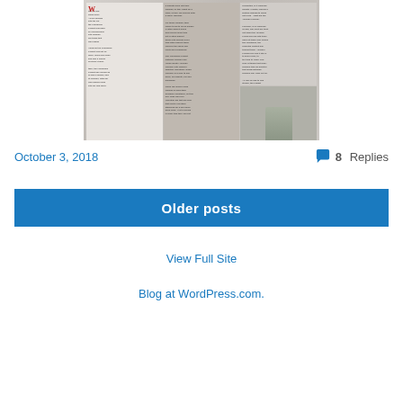[Figure (photo): A scanned newspaper article about a Friendship Project for children in Warwickshire, with columns of text and a photo of a person holding a framed certificate.]
October 3, 2018
8 Replies
Older posts
View Full Site
Blog at WordPress.com.